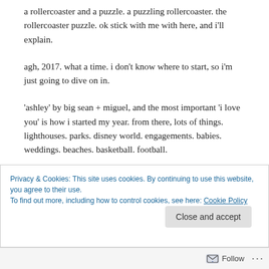a rollercoaster and a puzzle. a puzzling rollercoaster. the rollercoaster puzzle. ok stick with me with here, and i'll explain.
agh, 2017. what a time. i don't know where to start, so i'm just going to dive on in.
'ashley' by big sean + miguel, and the most important 'i love you' is how i started my year. from there, lots of things. lighthouses. parks. disney world. engagements. babies. weddings. beaches. basketball. football.
Privacy & Cookies: This site uses cookies. By continuing to use this website, you agree to their use. To find out more, including how to control cookies, see here: Cookie Policy
Follow ...